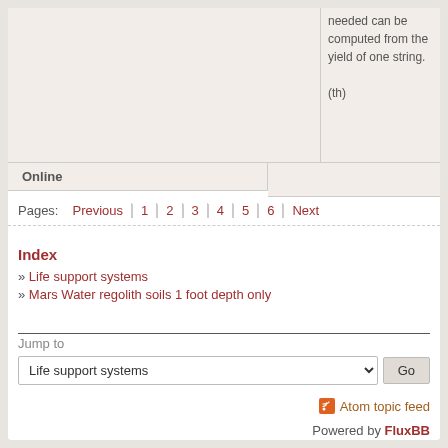needed can be computed from the yield of one string.

(th)
Online
Pages: Previous 1 2 3 4 5 6 Next
Index
» Life support systems
» Mars Water regolith soils 1 foot depth only
Jump to
Life support systems
Atom topic feed
Powered by FluxBB